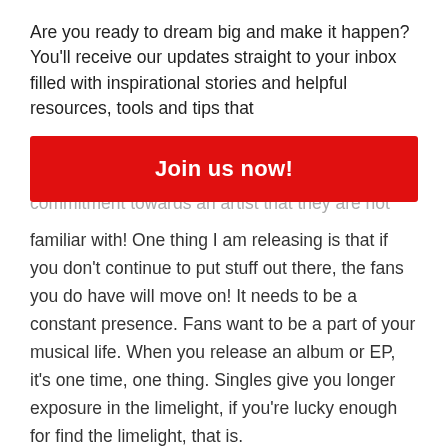Are you ready to dream big and make it happen? You'll receive our updates straight to your inbox filled with inspirational stories and helpful resources, tools and tips that
Join us now!
commitment towards an artist that they are not familiar with! One thing I am releasing is that if you don't continue to put stuff out there, the fans you do have will move on! It needs to be a constant presence. Fans want to be a part of your musical life. When you release an album or EP, it's one time, one thing. Singles give you longer exposure in the limelight, if you're lucky enough for find the limelight, that is.
I would love to have 5 minutes alone with…
My Dad. He died when I was 7 and I was actually only 2